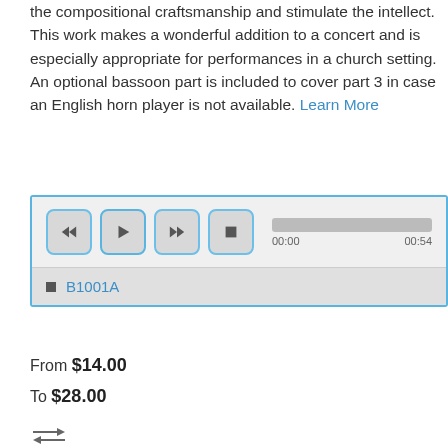the compositional craftsmanship and stimulate the intellect. This work makes a wonderful addition to a concert and is especially appropriate for performances in a church setting. An optional bassoon part is included to cover part 3 in case an English horn player is not available. Learn More
[Figure (screenshot): Audio player widget with rewind, play, fast-forward, and stop buttons, a progress bar showing 00:00 to 00:54, and a playlist entry labeled B1001A]
From $14.00
To $28.00
[Figure (other): Add to Cart button (orange)]
[Figure (other): Compare icon (double arrows)]